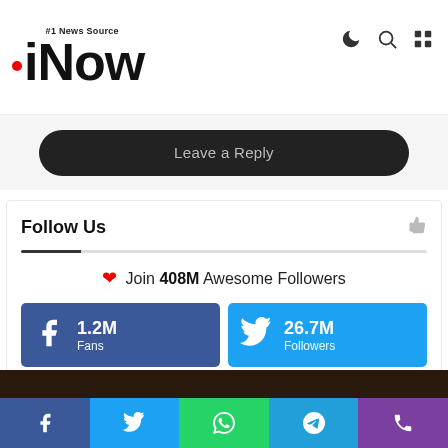iNow #1 News Source
Leave a Reply
Follow Us
❤ Join 408M Awesome Followers
[Figure (infographic): Social media follow counts: Facebook 1.2M Fans, Twitter 26.7M Followers, YouTube 10.6M Subscribers, Instagram 2.3M Followers]
Share bar: Facebook, Twitter, WhatsApp, Telegram, Phone